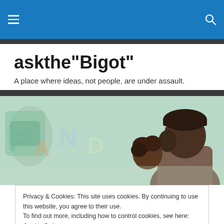askthe"Bigot" — site header bar with hamburger menu and search icon
askthe"Bigot"
A place where ideas, not people, are under assault.
[Figure (photo): Two young people sitting in front of a colorful graffiti-covered wall. The figure on the right wears a dark beanie hat, with curly hair visible.]
Privacy & Cookies: This site uses cookies. By continuing to use this website, you agree to their use.
To find out more, including how to control cookies, see here: Cookie Policy
Close and accept